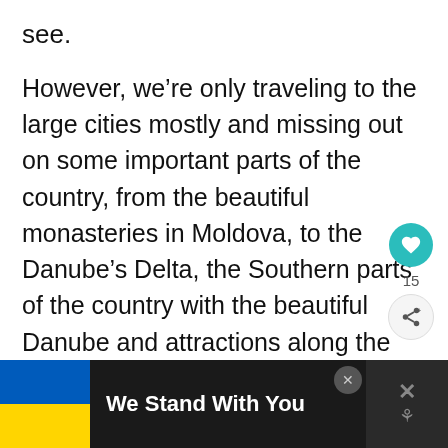see.
However, we’re only traveling to the large cities mostly and missing out on some important parts of the country, from the beautiful monasteries in Moldova, to the Danube’s Delta, the Southern parts of the country with the beautiful Danube and attractions along the way, as well as most of the country’s natural beauty and landmarks.
[Figure (infographic): Teal heart/like button with count 15, and a share button below it on the right side of the page]
[Figure (infographic): Ad banner at bottom: black background with Ukrainian flag (blue and yellow), text 'We Stand With You', close X button, and a dark panel with X and dots icon on right]